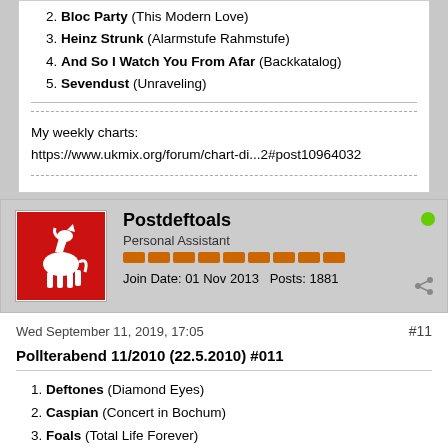2. Bloc Party (This Modern Love)
3. Heinz Strunk (Alarmstufe Rahmstufe)
4. And So I Watch You From Afar (Backkatalog)
5. Sevendust (Unraveling)
My weekly charts:
https://www.ukmix.org/forum/chart-di...2#post10964032
Postdeftoals
Personal Assistant
Join Date: 01 Nov 2013   Posts: 1881
Wed September 11, 2019, 17:05
#11
Pollterabend 11/2010 (22.5.2010) #011
1. Deftones (Diamond Eyes)
2. Caspian (Concert in Bochum)
3. Foals (Total Life Forever)
4. The Eighties Matchbox B-Line Disaster (Love Turns To Hate)